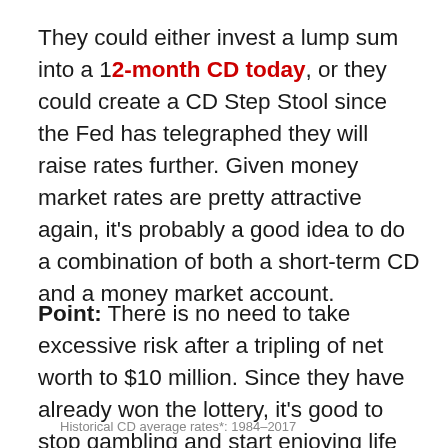They could either invest a lump sum into a 12-month CD today, or they could create a CD Step Stool since the Fed has telegraphed they will raise rates further. Given money market rates are pretty attractive again, it's probably a good idea to do a combination of both a short-term CD and a money market account.
Point: There is no need to take excessive risk after a tripling of net worth to $10 million. Since they have already won the lottery, it's good to stop gambling and start enjoying life to the maximum.
Historical CD average rates*: 1984–2017